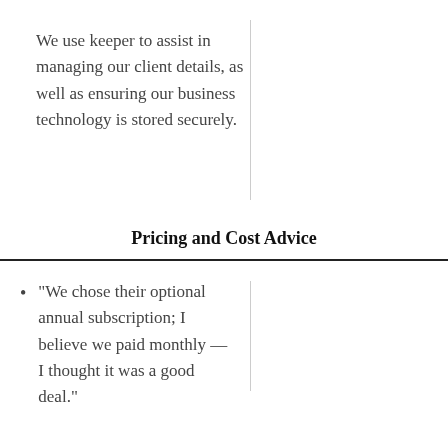We use keeper to assist in managing our client details, as well as ensuring our business technology is stored securely.
Pricing and Cost Advice
"We chose their optional annual subscription; I believe we paid monthly — I thought it was a good deal."